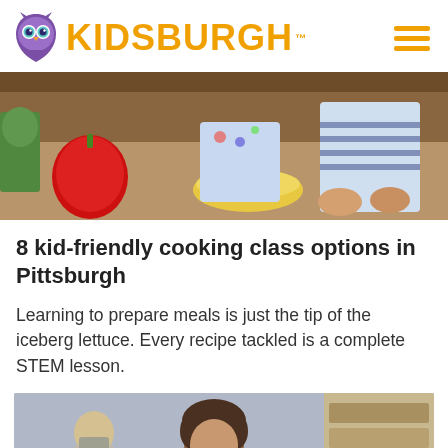KIDSBURGH
[Figure (photo): Adult and child cooking together in a kitchen with a red pepper and yellow bowl visible]
8 kid-friendly cooking class options in Pittsburgh
Learning to prepare meals is just the tip of the iceberg lettuce. Every recipe tackled is a complete STEM lesson.
[Figure (photo): Child with curly hair wearing a mask working at a school desk in a classroom]